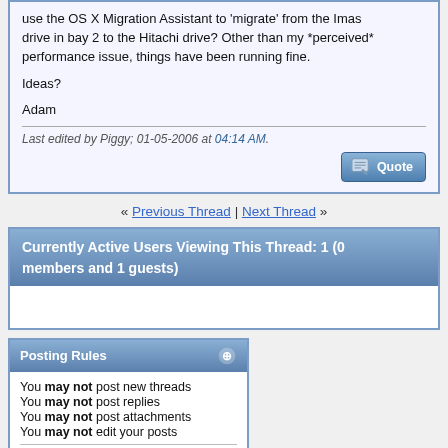use the OS X Migration Assistant to 'migrate' from the Imas drive in bay 2 to the Hitachi drive? Other than my *perceived* performance issue, things have been running fine.

Ideas?

Adam
Last edited by Piggy; 01-05-2006 at 04:14 AM.
« Previous Thread | Next Thread »
Currently Active Users Viewing This Thread: 1 (0 members and 1 guests)
Posting Rules
You may not post new threads
You may not post replies
You may not post attachments
You may not edit your posts
BB code is On
Smilies are On
[IMG] code is On
HTML code is Off